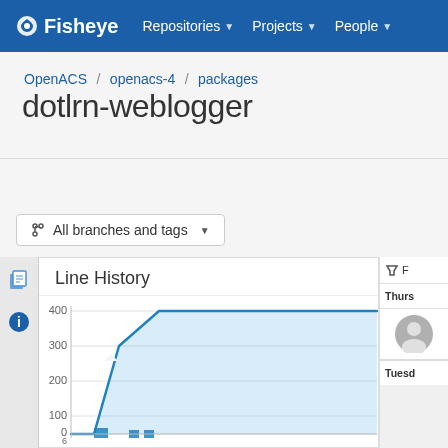Fisheye  Repositories  Projects  People
OpenACS / openacs-4 / packages
dotlrn-weblogger
Files  Activity  Commit Graph  Users  Reports  Search
All branches and tags
Line History
[Figure (area-chart): Line History]
Thurs
Tuesd